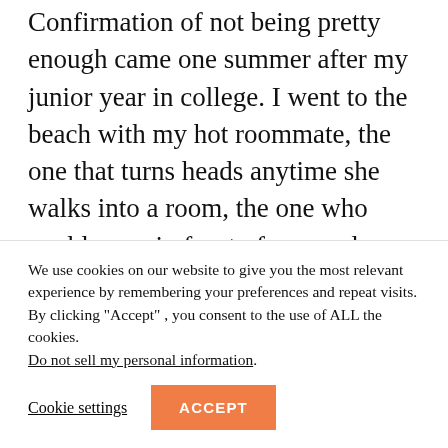Confirmation of not being pretty enough came one summer after my junior year in college. I went to the beach with my hot roommate, the one that turns heads anytime she walks into a room, the one who could poop in front of you and you'd be like, "what a babe!" and some guy walks past us and says, "Wow!" and I look up, just because I heard someone say
We use cookies on our website to give you the most relevant experience by remembering your preferences and repeat visits. By clicking "Accept", you consent to the use of ALL the cookies. Do not sell my personal information.